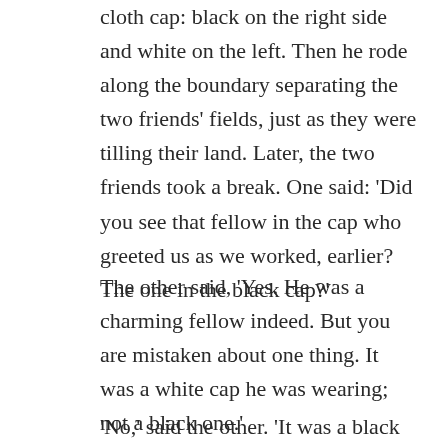cloth cap: black on the right side and white on the left. Then he rode along the boundary separating the two friends' fields, just as they were tilling their land. Later, the two friends took a break. One said: 'Did you see that fellow in the cap who greeted us as we worked, earlier? The one in the black cap?'
The other said, 'Yes. He was a charming fellow indeed. But you are mistaken about one thing. It was a white cap he was wearing; not a black one.'
'No,' said the other. 'It was a black cap, for sure.